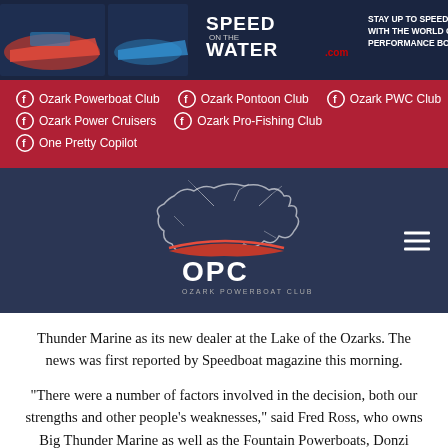[Figure (logo): Speed On The Water banner advertisement with boat photos and text 'Stay up to speed with the world of performance boats']
Ozark Powerboat Club
Ozark Pontoon Club
Ozark PWC Club
Ozark Power Cruisers
Ozark Pro-Fishing Club
One Pretty Copilot
[Figure (logo): OPC Ozark Powerboat Club logo on dark navy background with hamburger menu icon]
Thunder Marine as its new dealer at the Lake of the Ozarks. The news was first reported by Speedboat magazine this morning.
"There were a number of factors involved in the decision, both our strengths and other people's weaknesses," said Fred Ross, who owns Big Thunder Marine as well as the Fountain Powerboats, Donzi Marine and Baja Marine powerboat brands. "Cigarette looked around and saw we